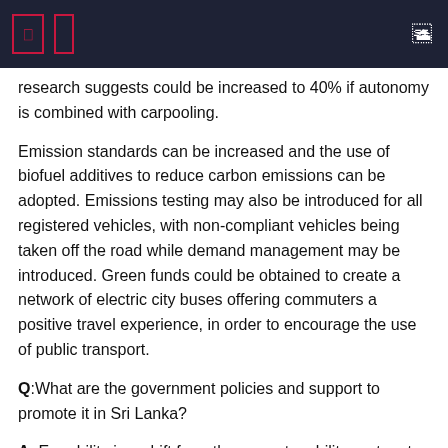research suggests could be increased to 40% if autonomy is combined with carpooling.
Emission standards can be increased and the use of biofuel additives to reduce carbon emissions can be adopted. Emissions testing may also be introduced for all registered vehicles, with non-compliant vehicles being taken off the road while demand management may be introduced. Green funds could be obtained to create a network of electric city buses offering commuters a positive travel experience, in order to encourage the use of public transport.
Q:What are the government policies and support to promote it in Sri Lanka?
A. E-mobility is a shift from the current mobility system to something new. Alongside this change, there must also be a